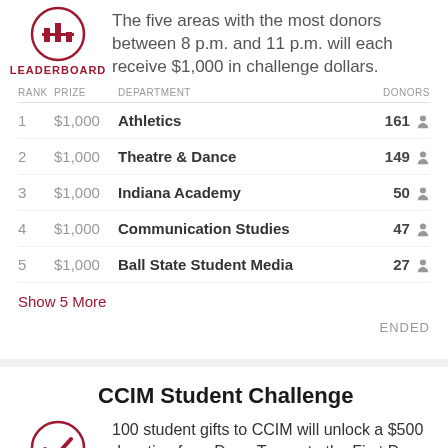The five areas with the most donors between 8 p.m. and 11 p.m. will each receive $1,000 in challenge dollars.
| RANK | PRIZE | DEPARTMENT | DONORS |
| --- | --- | --- | --- |
| 1 | $1,000 | Athletics | 161 |
| 2 | $1,000 | Theatre & Dance | 149 |
| 3 | $1,000 | Indiana Academy | 50 |
| 4 | $1,000 | Communication Studies | 47 |
| 5 | $1,000 | Ball State Student Media | 27 |
Show 5 More
ENDED
CCIM Student Challenge
100 student gifts to CCIM will unlock a $500 donation from Dean Turner to the First Day Scholars Fund for high impact student experiences.